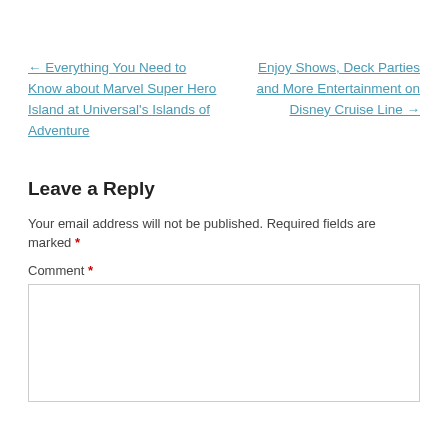← Everything You Need to Know about Marvel Super Hero Island at Universal's Islands of Adventure
Enjoy Shows, Deck Parties and More Entertainment on Disney Cruise Line →
Leave a Reply
Your email address will not be published. Required fields are marked *
Comment *